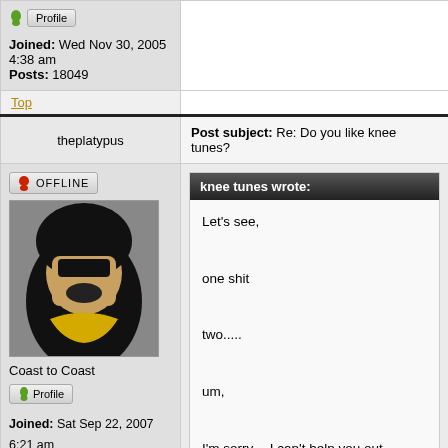Joined: Wed Nov 30, 2005 4:38 am
Posts: 18049
Top
theplatypus
Post subject: Re: Do you like knee tunes?
OFFLINE
[Figure (illustration): Avatar image showing a cartoon character with black hood and tan face]
Coast to Coast
Profile
Joined: Sat Sep 22, 2007 6:21 am
Posts: 23078
Location: Buenos Aires, Argentina
Gender: Male
knee tunes wrote:
Let's see,
one shit
two.....
um,
I'm sorry -- I can't help you out.
Don't worry about Argo, he has mild Asperg
For more insulated and ill-informed opinions